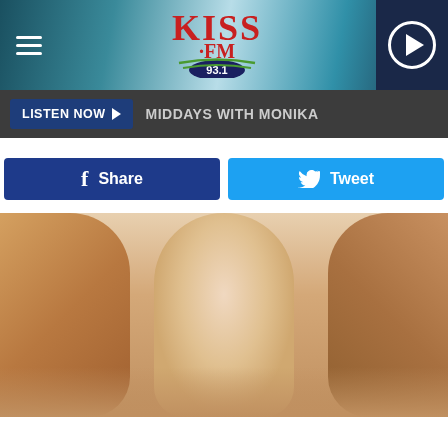KISS FM 93.1 — MIDDAYS WITH MONIKA
Share
Tweet
[Figure (photo): Close-up photo showing the back of a woman's neck and shoulders with light blonde hair, skin-toned background]
Ashburn The Cost Of One Day Full Mouth Dental Implants in 2022 Might Surprise You
Dental Implants | Search Ads
[Figure (photo): A hand holding a white LED light bulb against a brown wooden background]